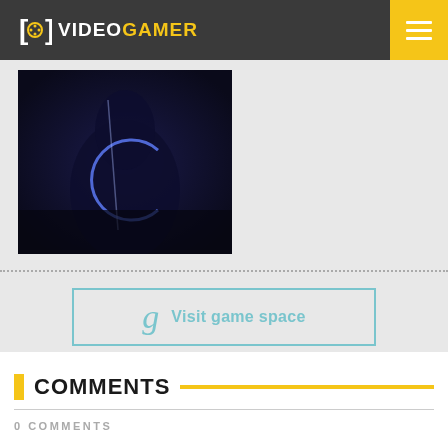VideoGamer
[Figure (screenshot): Dark blue/purple toned game screenshot showing a shadowy figure or character silhouette against a dark background with a glowing 'C' shape.]
Visit game space
COMMENTS
0 COMMENTS